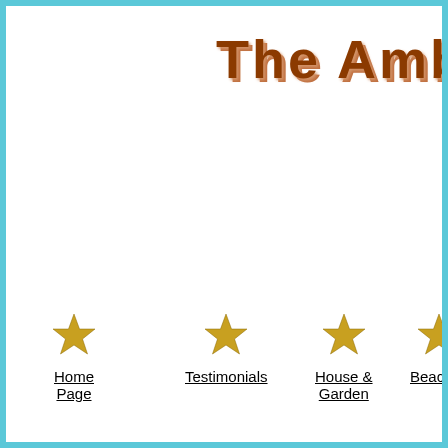The Amb
Home Page
Testimonials
House & Garden
Beaches
Ac
'Tobago, a little, tranquil island 21 miles northeast of T and part of the Republic of Trinidad and Tobago was conne the South American mainland thousands of years ago. The an Eden that tourism has only just begun to touch ..... Reef rainforests, lagoons and waterfalls are home to some 210 s bird and 123 different butterflies. There are some 30 roo